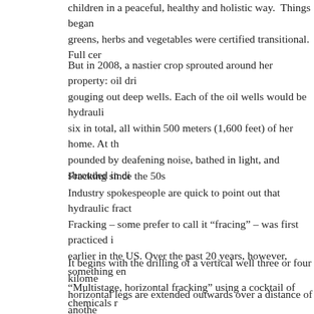children in a peaceful, healthy and holistic way. Things began greens, herbs and vegetables were certified transitional. Full cer
But in 2008, a nastier crop sprouted around her property: oil dri gouging out deep wells. Each of the oil wells would be hydrauli six in total, all within 500 meters (1,600 feet) of her home. At th pounded by deafening noise, bathed in light, and shrouded in di
Fracking since the 50s
Industry spokespeople are quick to point out that hydraulic fract Fracking – some prefer to call it “fracing” – was first practiced i earlier in the US. Over the past 20 years, however, something en “Multistage, horizontal fracking” using a cocktail of chemicals r deposits.
It begins with the drilling of a vertical well three or four kilome horizontal legs are extended outwards over a distance of anothe beds of compressed shale. A mixture of water or organic fluids, through these horizontal shafts, under enormous pressure, in ord